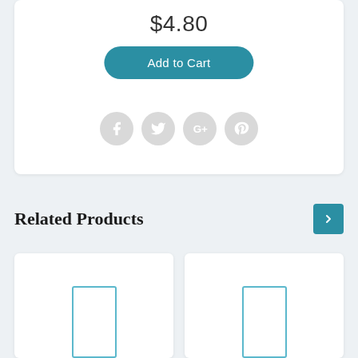$4.80
[Figure (screenshot): Add to Cart button with teal rounded rectangle styling]
[Figure (infographic): Four social media icon circles (Facebook, Twitter, Google+, Pinterest) in light grey]
Related Products
[Figure (screenshot): Navigation arrow button (right chevron) in teal square]
[Figure (screenshot): Two white product card placeholders with teal outline rectangle placeholder images]